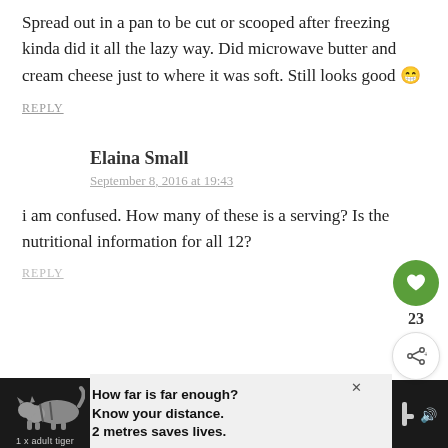Spread out in a pan to be cut or scooped after freezing kinda did it all the lazy way. Did microwave butter and cream cheese just to where it was soft. Still looks good 😁
REPLY
Elaina Small
September 8, 2016 at 19:43
i am confused. How many of these is a serving? Is the nutritional information for all 12?
REPLY
[Figure (infographic): Dark advertisement banner at bottom of page with a tiger illustration and text: 'How far is far enough? Know your distance. 2 metres saves lives.' with '1 x adult tiger' label below tiger. Close button (X) visible. Right side shows some icons on dark background.]